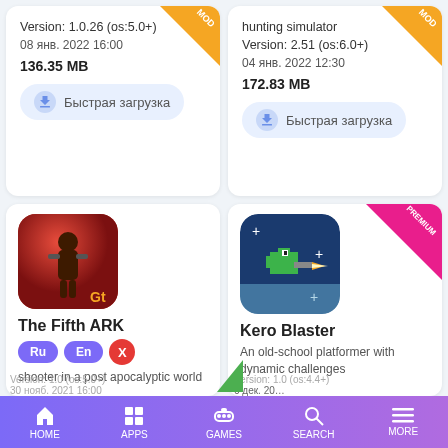Version: 1.0.26 (os:5.0+)
08 янв. 2022 16:00
136.35 MB
hunting simulator
Version: 2.51 (os:6.0+)
04 янв. 2022 12:30
172.83 MB
Быстрая загрузка
Быстрая загрузка
[Figure (illustration): The Fifth ARK game icon - warrior character with red background]
The Fifth ARK
shooter in a post apocalyptic world
[Figure (illustration): Kero Blaster game icon - pixel art frog character in space with dark blue background, PREMIUM badge]
Kero Blaster
An old-school platformer with dynamic challenges
HOME  APPS  GAMES  SEARCH  MORE